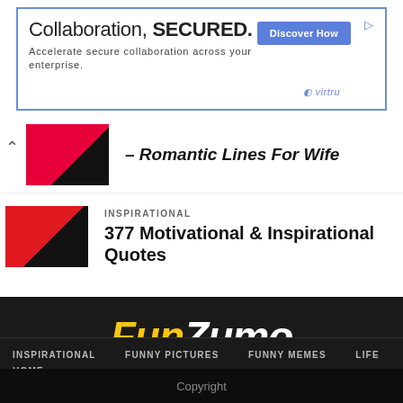[Figure (screenshot): Advertisement banner: 'Collaboration, SECURED.' with 'Discover How' button and Virtru logo]
– Romantic Lines For Wife
[Figure (photo): Thumbnail image for Romantic Lines For Wife article showing red shoes]
INSPIRATIONAL
377 Motivational & Inspirational Quotes
[Figure (photo): Thumbnail image for 377 Motivational & Inspirational Quotes article - red background with text]
[Figure (logo): FunZumo logo in yellow and white italic text on dark background]
INSPIRATIONAL   FUNNY PICTURES   FUNNY MEMES   LIFE   HOME
Copyright